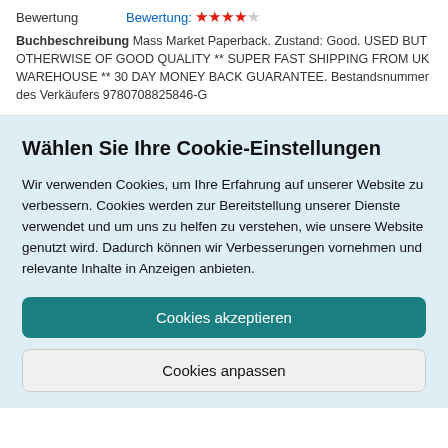| Bewertung | Bewertung: ★★★★☆ |
Buchbeschreibung Mass Market Paperback. Zustand: Good. USED BUT OTHERWISE OF GOOD QUALITY ** SUPER FAST SHIPPING FROM UK WAREHOUSE ** 30 DAY MONEY BACK GUARANTEE. Bestandsnummer des Verkäufers 9780708825846-G
Wählen Sie Ihre Cookie-Einstellungen
Wir verwenden Cookies, um Ihre Erfahrung auf unserer Website zu verbessern. Cookies werden zur Bereitstellung unserer Dienste verwendet und um uns zu helfen zu verstehen, wie unsere Website genutzt wird. Dadurch können wir Verbesserungen vornehmen und relevante Inhalte in Anzeigen anbieten.
Cookies akzeptieren
Cookies anpassen